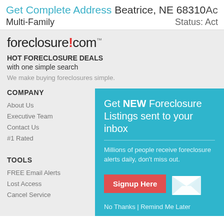Get Complete Address Beatrice, NE 68310 Active
Multi-Family Status: Act
[Figure (logo): foreclosure.com logo with red dot and trademark symbol]
HOT FORECLOSURE DEALS with one simple search
We make buying foreclosures simple.
COMPANY
About Us
Executive Team
Contact Us
#1 Rated
[Figure (infographic): Teal popup modal: Get NEW Foreclosure Listings sent to your inbox. Millions of people receive foreclosure alerts daily, don't miss out. Signup Here button with envelope icon. No Thanks | Remind Me Later]
TOOLS
FREE Email Alerts
Lost Access
Cancel Service
Become an affiliate
Advertise on Foreclosure.com